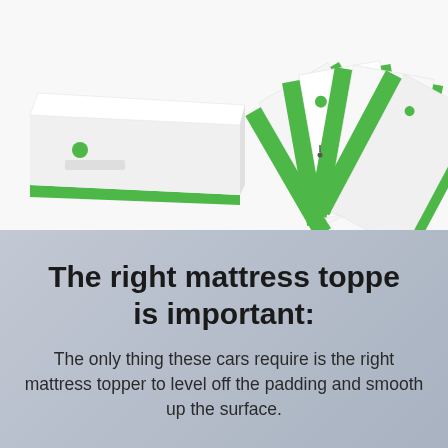[Figure (photo): White and green folding/stacking mattress toppers or foam pads shown from multiple angles — one lying flat on the left, several standing upright and fanned out on the right, against a white background.]
The right mattress toppe is important:
The only thing these cars require is the right mattress topper to level off the padding and smooth up the surface.